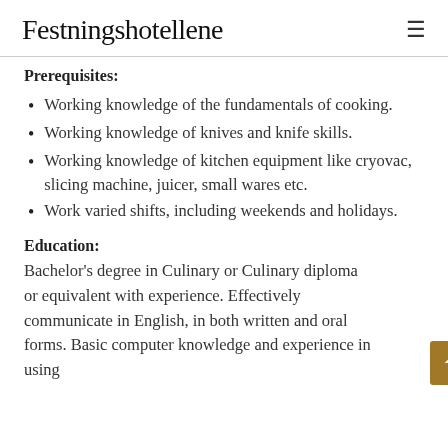Festningshotellene
Prerequisites:
Working knowledge of the fundamentals of cooking.
Working knowledge of knives and knife skills.
Working knowledge of kitchen equipment like cryovac, slicing machine, juicer, small wares etc.
Work varied shifts, including weekends and holidays.
Education:
Bachelor’s degree in Culinary or Culinary diploma or equivalent with experience. Effectively communicate in English, in both written and oral forms. Basic computer knowledge and experience in using